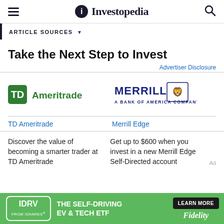Investopedia
ARTICLE SOURCES
Take the Next Step to Invest
Advertiser Disclosure
[Figure (logo): TD Ameritrade logo - green TD box with Ameritrade text]
[Figure (logo): Merrill Lynch - A Bank of America Company logo]
TD Ameritrade
Merrill Edge
Discover the value of becoming a smarter trader at TD Ameritrade
Get up to $600 when you invest in a new Merrill Edge Self-Directed account
[Figure (advertisement): IDRV from iShares - The Self-Driving EV & Tech ETF - Learn More - Fidelity banner ad]